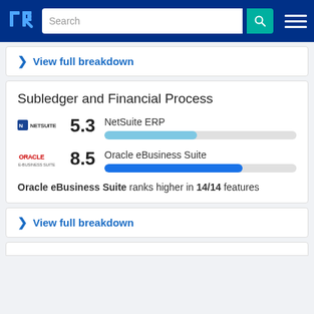TrustRadius - Search
> View full breakdown
Subledger and Financial Process
[Figure (bar-chart): Subledger and Financial Process]
Oracle eBusiness Suite ranks higher in 14/14 features
> View full breakdown